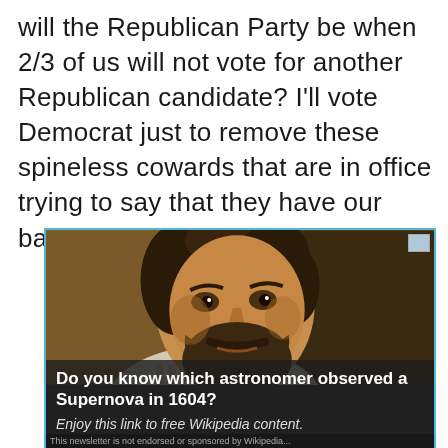will the Republican Party be when 2/3 of us will not vote for another Republican candidate? I'll vote Democrat just to remove these spineless cowards that are in office trying to say that they have our backs!!! I'm done!!!!
[Figure (screenshot): Advertisement showing a portrait painting of a bearded Renaissance-era man with text overlay: 'Do you know which astronomer observed a Supernova in 1604?' and italic subtitle 'Enjoy this link to free Wikipedia content.' with a partially visible footer line.]